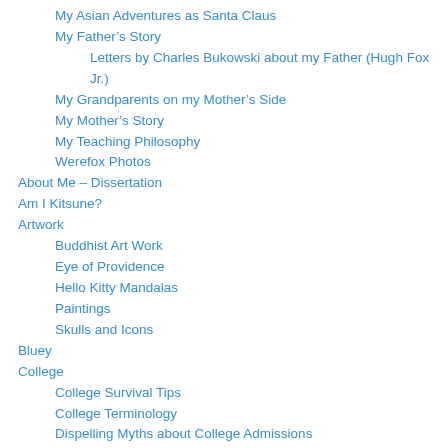My Asian Adventures as Santa Claus
My Father’s Story
Letters by Charles Bukowski about my Father (Hugh Fox Jr.)
My Grandparents on my Mother’s Side
My Mother’s Story
My Teaching Philosophy
Werefox Photos
About Me – Dissertation
Am I Kitsune?
Artwork
Buddhist Art Work
Eye of Providence
Hello Kitty Mandalas
Paintings
Skulls and Icons
Bluey
College
College Survival Tips
College Terminology
Dispelling Myths about College Admissions